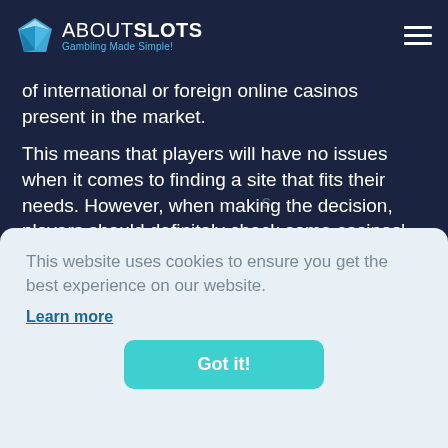ABOUTSLOTS Gambling Made Simple!
of international or foreign online casinos present in the market.
This means that players will have no issues when it comes to finding a site that fits their needs. However, when making the decision, players should definitely check some casinos' features which speak of their reliability, licensing, and
This website uses cookies to ensure you get the best experience on our website.
Learn more
Got it!
offer very rich gaming libraries at which